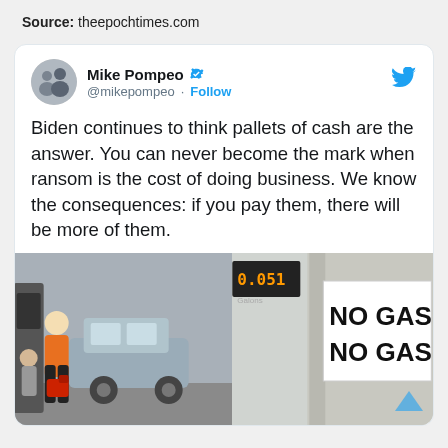Source: theepochtimes.com
Mike Pompeo @mikepompeo · Follow
Biden continues to think pallets of cash are the answer. You can never become the mark when ransom is the cost of doing business. We know the consequences: if you pay them, there will be more of them.
[Figure (photo): Two-panel composite image: left panel shows people with red gas cans at a gas station with a vehicle; right panel shows a white sign reading 'NO GAS! NO GAS!' on a gas pump display.]